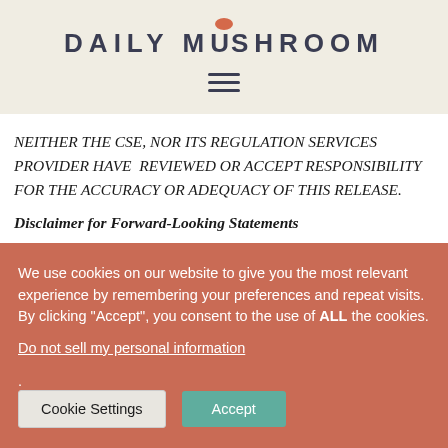DAILY MUSHROOM
NEITHER THE CSE, NOR ITS REGULATION SERVICES PROVIDER HAVE REVIEWED OR ACCEPT RESPONSIBILITY FOR THE ACCURACY OR ADEQUACY OF THIS RELEASE.
Disclaimer for Forward-Looking Statements
We use cookies on our website to give you the most relevant experience by remembering your preferences and repeat visits. By clicking "Accept", you consent to the use of ALL the cookies.
Do not sell my personal information.